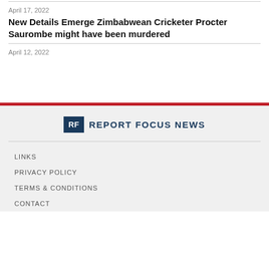April 17, 2022
New Details Emerge Zimbabwean Cricketer Procter Saurombe might have been murdered
April 12, 2022
[Figure (logo): Report Focus News logo with RF badge and text]
LINKS
PRIVACY POLICY
TERMS & CONDITIONS
CONTACT